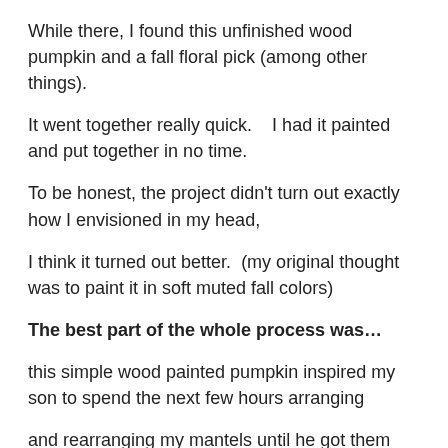While there, I found this unfinished wood pumpkin and a fall floral pick (among other things).
It went together really quick.   I had it painted and put together in no time.
To be honest, the project didn't turn out exactly how I envisioned in my head,
I think it turned out better.  (my original thought was to paint it in soft muted fall colors)
The best part of the whole process was…
this simple wood painted pumpkin inspired my son to spend the next few hours arranging
and rearranging my mantels until he got them just perfect. (and that makes me happy!)